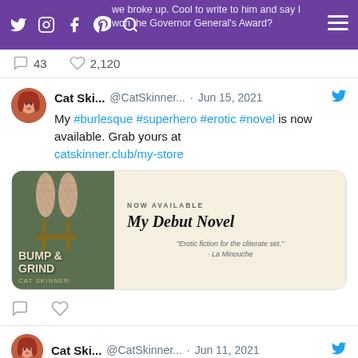we broke up. Cool to write to him and say I won the Governor General's Award?
43 comments, 2,120 likes
Cat Ski... @CatSkinner... · Jun 15, 2021
My #burlesque #superhero #erotic #novel is now available. Grab yours at catskinner.club/my-store
[Figure (illustration): Book promotional card for 'Bump & Grind' by Cat Skinner. Cream background with image of legs in fishnet stockings on left side. Right side shows 'NOW AVAILABLE' text above 'My Debut Novel' in large italic serif font. Quote: 'Erotic fiction for the cliterate set.' - La Minouche]
Cat Ski... @CatSkinner... · Jun 11, 2021